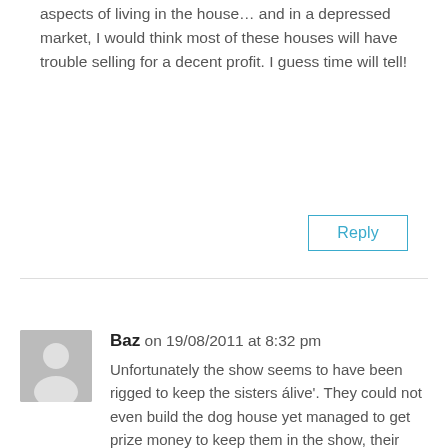aspects of living in the house… and in a depressed market, I would think most of these houses will have trouble selling for a decent profit. I guess time will tell!
Reply
Baz on 19/08/2011 at 8:32 pm
Unfortunately the show seems to have been rigged to keep the sisters álive'. They could not even build the dog house yet managed to get prize money to keep them in the show, their lounge was second, Tania and Rob's was easily better, they run out of money because they have to hire trades to do everything for them (they shop), and the show is about renovating, which they don't seem to do any of themselves.